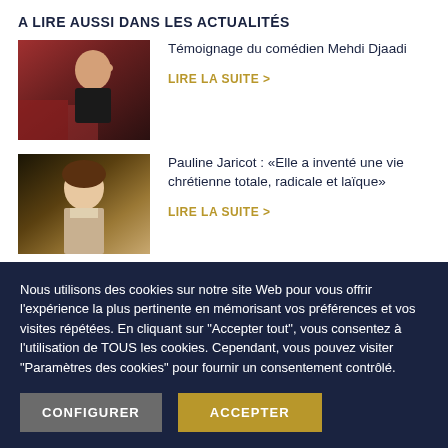A LIRE AUSSI DANS LES ACTUALITÉS
[Figure (photo): Portrait of a smiling man in a black polo shirt, seated in a theatre with red seats in the background]
Témoignage du comédien Mehdi Djaadi
LIRE LA SUITE >
[Figure (photo): Classical painted portrait of a young woman in period clothing]
Pauline Jaricot : «Elle a inventé une vie chrétienne totale, radicale et laïque»
LIRE LA SUITE >
Nous utilisons des cookies sur notre site Web pour vous offrir l'expérience la plus pertinente en mémorisant vos préférences et vos visites répétées. En cliquant sur "Accepter tout", vous consentez à l'utilisation de TOUS les cookies. Cependant, vous pouvez visiter "Paramètres des cookies" pour fournir un consentement contrôlé.
CONFIGURER
ACCEPTER